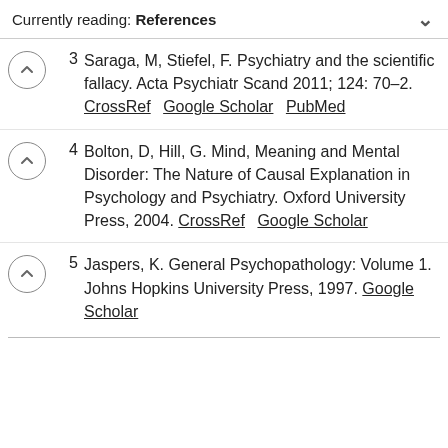Currently reading: References
3  Saraga, M, Stiefel, F. Psychiatry and the scientific fallacy. Acta Psychiatr Scand 2011; 124: 70–2. CrossRef  Google Scholar  PubMed
4  Bolton, D, Hill, G. Mind, Meaning and Mental Disorder: The Nature of Causal Explanation in Psychology and Psychiatry. Oxford University Press, 2004. CrossRef  Google Scholar
5  Jaspers, K. General Psychopathology: Volume 1. Johns Hopkins University Press, 1997. Google Scholar